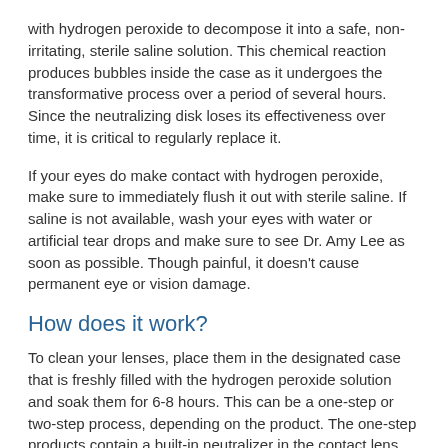with hydrogen peroxide to decompose it into a safe, non-irritating, sterile saline solution. This chemical reaction produces bubbles inside the case as it undergoes the transformative process over a period of several hours. Since the neutralizing disk loses its effectiveness over time, it is critical to regularly replace it.
If your eyes do make contact with hydrogen peroxide, make sure to immediately flush it out with sterile saline. If saline is not available, wash your eyes with water or artificial tear drops and make sure to see Dr. Amy Lee as soon as possible. Though painful, it doesn't cause permanent eye or vision damage.
How does it work?
To clean your lenses, place them in the designated case that is freshly filled with the hydrogen peroxide solution and soak them for 6-8 hours. This can be a one-step or two-step process, depending on the product. The one-step products contain a built-in neutralizer in the contact lens case, while the two-step products require you to add a neutralizing tablet to the solution after cleaning.